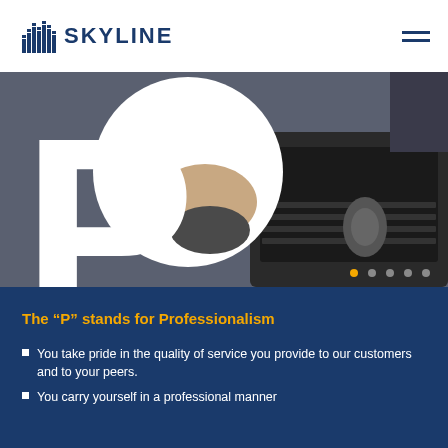[Figure (logo): Skyline logo with blue bar chart icon and SKYLINE text in dark navy]
[Figure (photo): Hero photo of person using computer mouse and laptop on a desk, with large white P letter overlaid, and pagination dots (5 total, first active in yellow)]
The “P” stands for Professionalism
You take pride in the quality of service you provide to our customers and to your peers.
You carry yourself in a professional manner